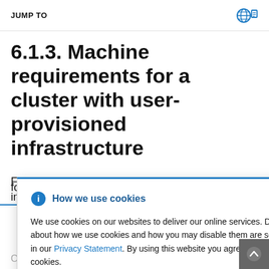JUMP TO
6.1.3. Machine requirements for a cluster with user-provisioned infrastructure
For a cluster that contains user-provisioned infrastructure, you must deploy all of the required
How we use cookies

We use cookies on our websites to deliver our online services. Details about how we use cookies and how you may disable them are set out in our Privacy Statement. By using this website you agree to our use of cookies.
One temporary bootstrap machine